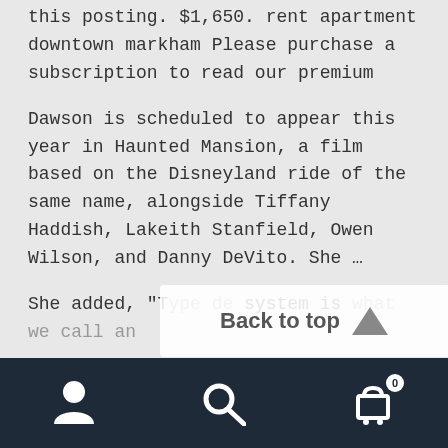this posting. $1,650. rent apartment downtown markham Please purchase a subscription to read our premium
Dawson is scheduled to appear this year in Haunted Mansion, a film based on the Disneyland ride of the same name, alongside Tiffany Haddish, Lakeith Stanfield, Owen Wilson, and Danny DeVito. She …
She added, "T... de system is what we call an
[Figure (screenshot): Back to top button overlay with upward arrow triangle icon]
[Figure (screenshot): Bottom navigation bar with user icon, search icon, and shopping cart icon with badge showing 0]